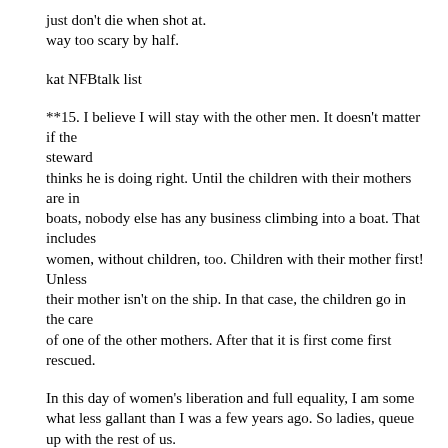just don't die when shot at.
way too scary by half.
kat NFBtalk list
**15. I believe I will stay with the other men. It doesn't matter if the steward thinks he is doing right. Until the children with their mothers are in boats, nobody else has any business climbing into a boat. That includes women, without children, too. Children with their mother first! Unless their mother isn't on the ship. In that case, the children go in the care of one of the other mothers. After that it is first come first rescued.
In this day of women's liberation and full equality, I am some what less gallant than I was a few years ago. So ladies, queue up with the rest of us.
As for the sharks, Shooting them will only stir them up more. If we are lucky they will take a bite or two and it the first